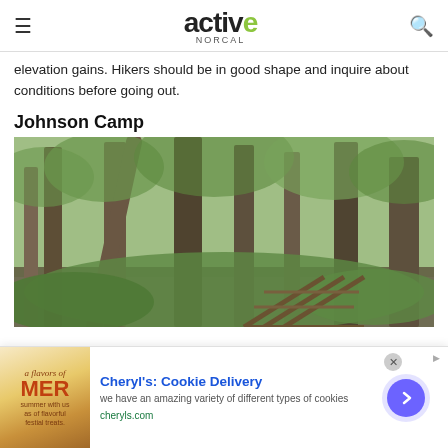active NorCal
elevation gains. Hikers should be in good shape and inquire about conditions before going out.
Johnson Camp
[Figure (photo): Forest scene with tall redwood trees, green undergrowth, and a wooden structure/bridge visible at the bottom right]
[Figure (other): Advertisement banner for Cheryl's Cookie Delivery with text: 'we have an amazing variety of different types of cookies' and cheryls.com URL]